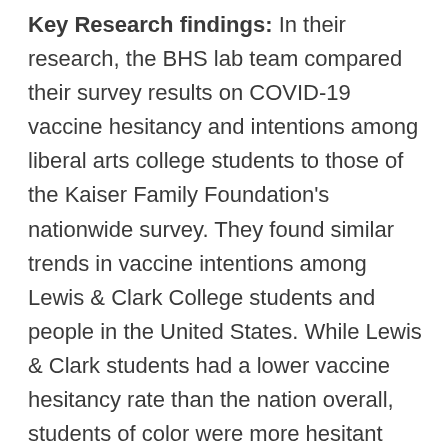Key Research findings: In their research, the BHS lab team compared their survey results on COVID-19 vaccine hesitancy and intentions among liberal arts college students to those of the Kaiser Family Foundation's nationwide survey. They found similar trends in vaccine intentions among Lewis & Clark College students and people in the United States. While Lewis & Clark students had a lower vaccine hesitancy rate than the nation overall, students of color were more hesitant than white students, a trend also reflected in the nationwide findings between Black and white respondents. Additionally, politically conservative LC students and national respondents were both more hesitant than liberals